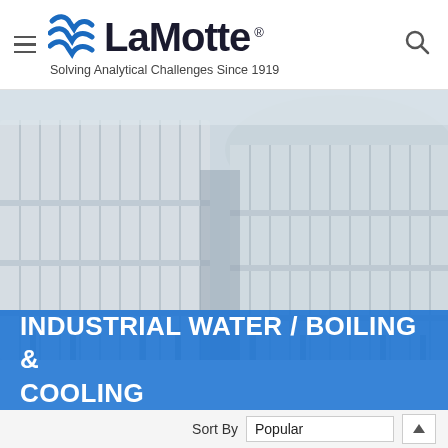LaMotte — Solving Analytical Challenges Since 1919
[Figure (photo): Industrial cooling towers — large cylindrical white corrugated metal cooling tower structures photographed from low angle against a pale sky]
INDUSTRIAL WATER / BOILING & COOLING
Sort By  Popular